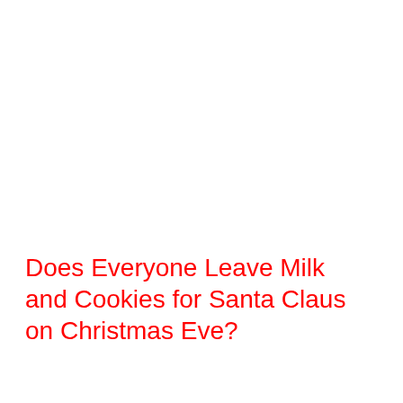Does Everyone Leave Milk and Cookies for Santa Claus on Christmas Eve?